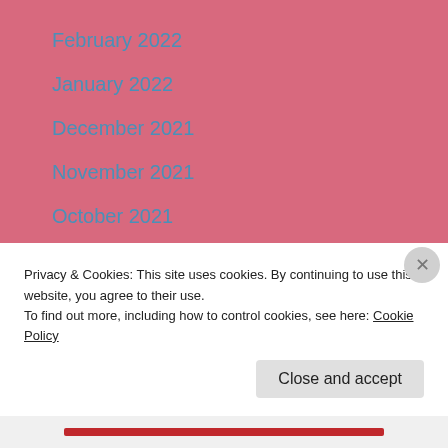February 2022
January 2022
December 2021
November 2021
October 2021
September 2021
August 2021
July 2021
June 2021
Privacy & Cookies: This site uses cookies. By continuing to use this website, you agree to their use.
To find out more, including how to control cookies, see here: Cookie Policy